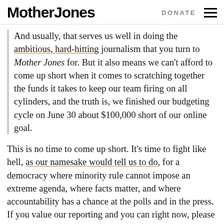Mother Jones  DONATE
And usually, that serves us well in doing the ambitious, hard-hitting journalism that you turn to Mother Jones for. But it also means we can't afford to come up short when it comes to scratching together the funds it takes to keep our team firing on all cylinders, and the truth is, we finished our budgeting cycle on June 30 about $100,000 short of our online goal.
This is no time to come up short. It's time to fight like hell, as our namesake would tell us to do, for a democracy where minority rule cannot impose an extreme agenda, where facts matter, and where accountability has a chance at the polls and in the press. If you value our reporting and you can right now, please help us dig out of the $100,000 hole we're starting our new